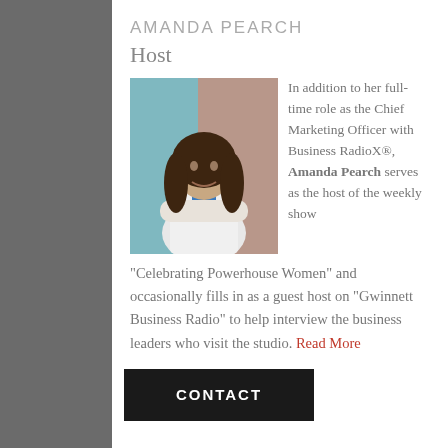AMANDA PEARCH
Host
[Figure (photo): Professional headshot of Amanda Pearch, a woman with long dark hair wearing a white jacket, arms crossed, standing in front of a brick building]
In addition to her full-time role as the Chief Marketing Officer with Business RadioX®, Amanda Pearch serves as the host of the weekly show "Celebrating Powerhouse Women" and occasionally fills in as a guest host on “Gwinnett Business Radio” to help interview the business leaders who visit the studio. Read More